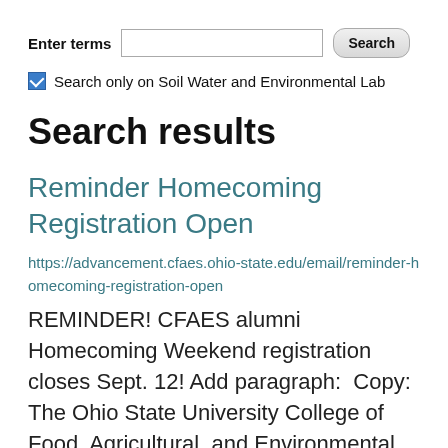Enter terms [search box] Search
Search only on Soil Water and Environmental Lab
Search results
Reminder Homecoming Registration Open
https://advancement.cfaes.ohio-state.edu/email/reminder-homecoming-registration-open
REMINDER! CFAES alumni Homecoming Weekend registration closes Sept. 12! Add paragraph:  Copy:  The Ohio State University College of Food, Agricultural, and Environmental Sciences (CFAES) cannot wait